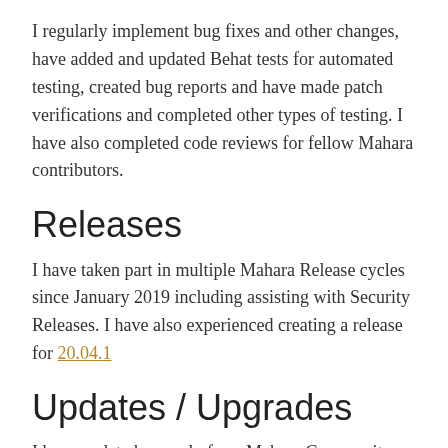I regularly implement bug fixes and other changes, have added and updated Behat tests for automated testing, created bug reports and have made patch verifications and completed other types of testing. I have also completed code reviews for fellow Mahara contributors.
Releases
I have taken part in multiple Mahara Release cycles since January 2019 including assisting with Security Releases. I have also experienced creating a release for 20.04.1
Updates / Upgrades
I have updated several of our Mahara Community sites and have also Upgraded them. I have also gained some